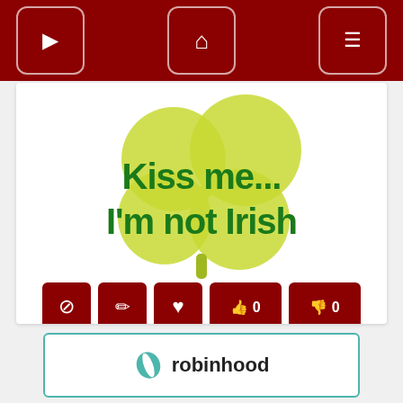Navigation bar with forward, home, and menu buttons
[Figure (illustration): Shamrock/clover illustration in yellow-green with text 'Kiss me... I'm not Irish' in dark green bold font overlaid]
[Figure (infographic): Row of action icon buttons: block/ban, edit/pencil, heart/favorite, thumbs up with 0, thumbs down with 0]
[Figure (infographic): Row of download/share buttons: HTML download, BB code download, Direct Link, and Share]
[Figure (logo): Robinhood advertisement box with teal border showing Robinhood logo and text]